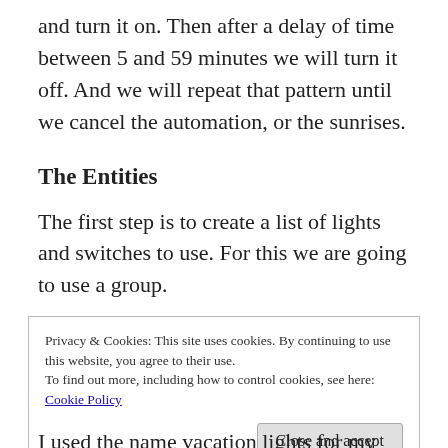and turn it on. Then after a delay of time between 5 and 59 minutes we will turn it off. And we will repeat that pattern until we cancel the automation, or the sunrises.
The Entities
The first step is to create a list of lights and switches to use. For this we are going to use a group.
Privacy & Cookies: This site uses cookies. By continuing to use this website, you agree to their use.
To find out more, including how to control cookies, see here: Cookie Policy
Close and accept
I used the name vacation lights for my group